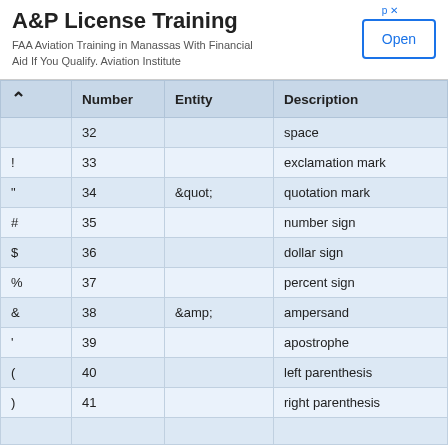A&P License Training
FAA Aviation Training in Manassas With Financial Aid If You Qualify. Aviation Institute
|  | Number | Entity | Description |
| --- | --- | --- | --- |
|  | 32 |  | space |
| ! | 33 |  | exclamation mark |
| " | 34 | &quot; | quotation mark |
| # | 35 |  | number sign |
| $ | 36 |  | dollar sign |
| % | 37 |  | percent sign |
| & | 38 | &amp; | ampersand |
| ' | 39 |  | apostrophe |
| ( | 40 |  | left parenthesis |
| ) | 41 |  | right parenthesis |